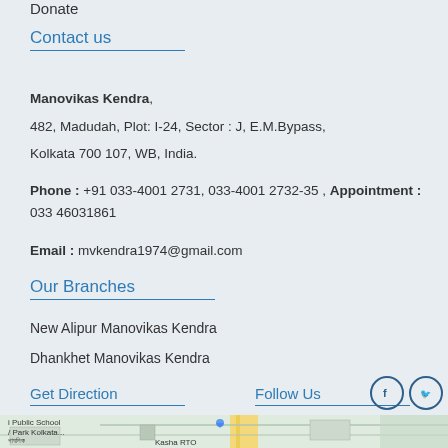Donate
Contact us
Manovikas Kendra,
482, Madudah, Plot: I-24, Sector : J, E.M.Bypass,
Kolkata 700 107, WB, India.
Phone : +91 033-4001 2731, 033-4001 2732-35 , Appointment : 033 46031861
Email : mvkendra1974@gmail.com
Our Branches
New Alipur Manovikas Kendra
Dhankhet Manovikas Kendra
Get Direction
Follow Us
[Figure (map): Google map showing location near Public School / Park Kolkata, with Kasha RTO visible]
I Public School
/ Park Kolkata...
পাবলিক
বি পার্ক